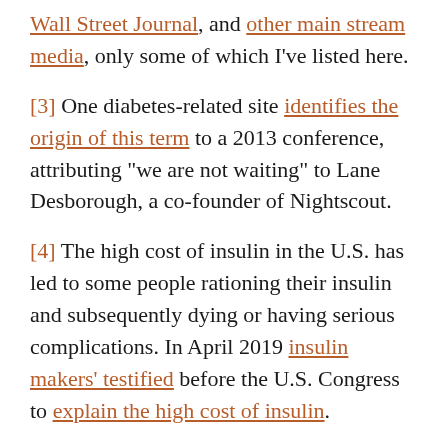Wall Street Journal, and other main stream media, only some of which I've listed here.
[3] One diabetes-related site identifies the origin of this term to a 2013 conference, attributing "we are not waiting" to Lane Desborough, a co-founder of Nightscout.
[4] The high cost of insulin in the U.S. has led to some people rationing their insulin and subsequently dying or having serious complications. In April 2019 insulin makers' testified before the U.S. Congress to explain the high cost of insulin.
[5] I use their names because they have public